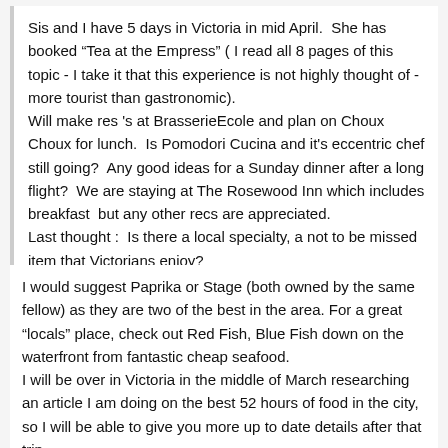Sis and I have 5 days in Victoria in mid April.  She has booked "Tea at the Empress" ( I read all 8 pages of this topic - I take it that this experience is not highly thought of - more tourist than gastronomic).
Will make res 's at BrasserieEcole and plan on Choux Choux for lunch.  Is Pomodori Cucina and it's eccentric chef still going?  Any good ideas for a Sunday dinner after a long flight?  We are staying at The Rosewood Inn which includes breakfast  but any other recs are appreciated.
Last thought :  Is there a local specialty, a not to be missed item that Victorians enjoy?
I would suggest Paprika or Stage (both owned by the same fellow) as they are two of the best in the area. For a great "locals" place, check out Red Fish, Blue Fish down on the waterfront from fantastic cheap seafood.
I will be over in Victoria in the middle of March researching an article I am doing on the best 52 hours of food in the city, so I will be able to give you more up to date details after that trip.
Cheers,
Eric